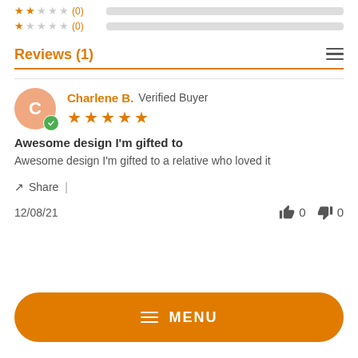[Figure (other): Rating bar rows showing 2-star and 1-star ratings both with 0 count and empty bars]
Reviews (1)
[Figure (other): Reviewer: Charlene B. Verified Buyer with 5-star rating, avatar circle with letter C and green verified checkmark badge]
Awesome design I'm gifted to
Awesome design I'm gifted to a relative who loved it
Share |
12/08/21
0  0
[Figure (other): Orange MENU button with hamburger icon at bottom of page]